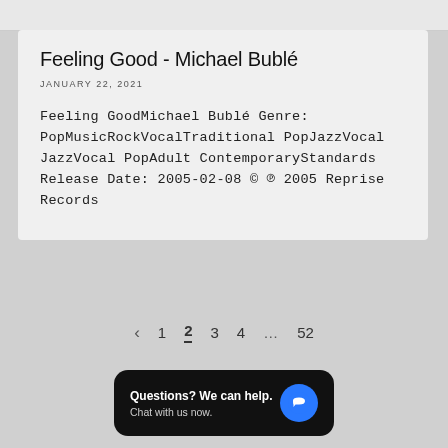Feeling Good - Michael Bublé
JANUARY 22, 2021
Feeling GoodMichael Bublé Genre: PopMusicRockVocalTraditional PopJazzVocal JazzVocal PopAdult ContemporaryStandards Release Date: 2005-02-08 © ℗ 2005 Reprise Records
< 1 2 3 4 … 52
Questions? We can help. Chat with us now.